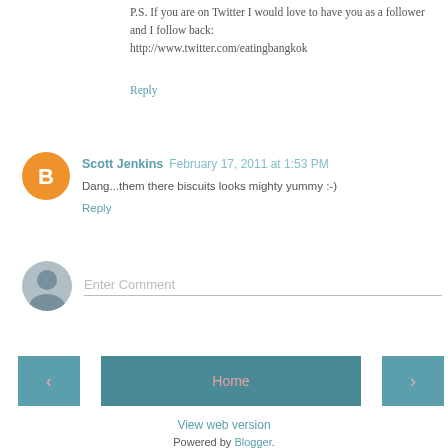P.S. If you are on Twitter I would love to have you as a follower and I follow back: http://www.twitter.com/eatingbangkok
Reply
Scott Jenkins  February 17, 2011 at 1:53 PM
Dang...them there biscuits looks mighty yummy :-)
Reply
Enter Comment
Home
View web version
Powered by Blogger.